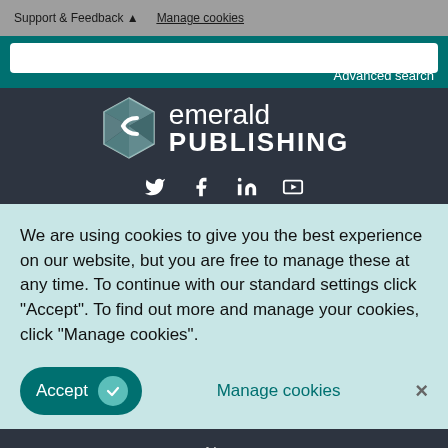Support & Feedback   Manage cookies
Advanced search
[Figure (logo): Emerald Publishing logo with geometric gem icon and text 'emerald PUBLISHING', plus social media icons for Twitter, Facebook, LinkedIn, and YouTube]
We are using cookies to give you the best experience on our website, but you are free to manage these at any time. To continue with our standard settings click "Accept". To find out more and manage your cookies, click "Manage cookies".
Accept   Manage cookies   ×
About